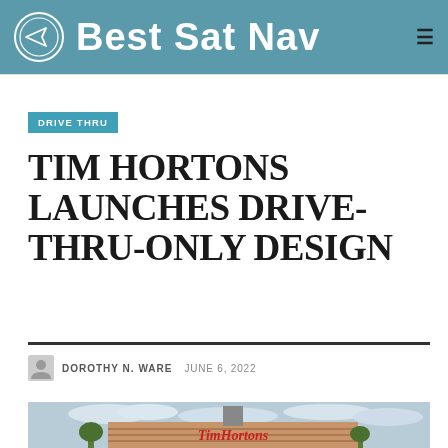Best Sat Nav
DRIVE THRU
TIM HORTONS LAUNCHES DRIVE-THRU-ONLY DESIGN
DOROTHY N. WARE  JUNE 6, 2022
[Figure (photo): Tim Hortons restaurant exterior with sign visible against a cloudy sky]